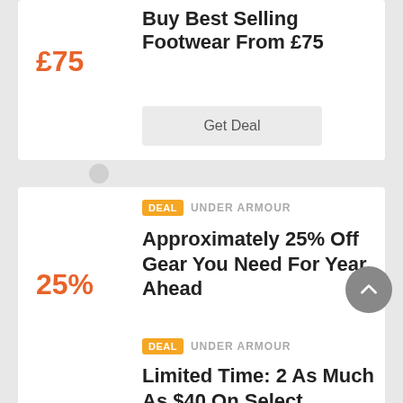£75
Buy Best Selling Footwear From £75
Get Deal
DEAL  UNDER ARMOUR
25%
Approximately 25% Off Gear You Need For Year Ahead
Get Deal
DEAL  UNDER ARMOUR
Limited Time: 2 As Much As $40 On Select Women's